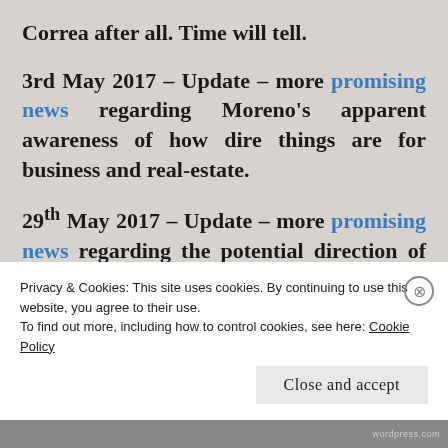Correa after all. Time will tell.
3rd May 2017 – Update – more promising news regarding Moreno's apparent awareness of how dire things are for business and real-estate.
29th May 2017 – Update – more promising news regarding the potential direction of the new government. Things like this need to happen quickly and effectively if Ecuador is
Privacy & Cookies: This site uses cookies. By continuing to use this website, you agree to their use.
To find out more, including how to control cookies, see here: Cookie Policy
Close and accept